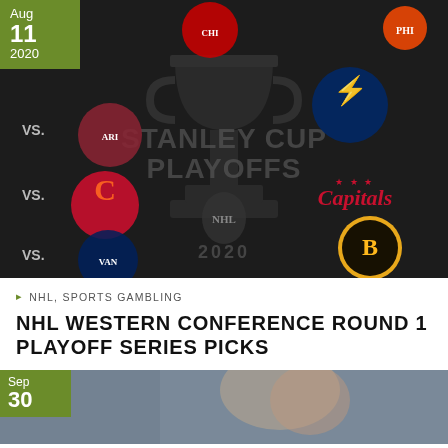[Figure (photo): NHL Stanley Cup Playoffs 2020 promotional image with team logos including Blackhawks, Coyotes, Flames, Canucks, Lightning, Capitals, Bruins, and Flyers on a dark background with Stanley Cup trophy graphic. Date badge shows Aug 11 2020.]
NHL, SPORTS GAMBLING
NHL WESTERN CONFERENCE ROUND 1 PLAYOFF SERIES PICKS
[Figure (photo): Partial view of a sports photograph with date badge showing Sep 30.]